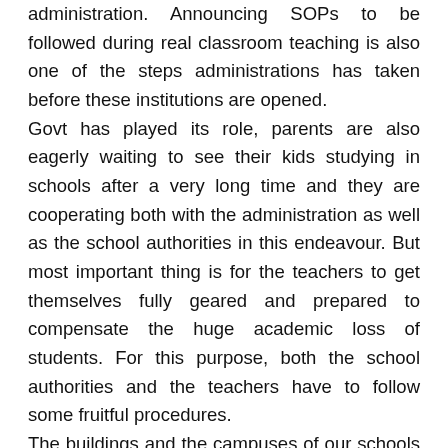administration. Announcing SOPs to be followed during real classroom teaching is also one of the steps administrations has taken before these institutions are opened.
Govt has played its role, parents are also eagerly waiting to see their kids studying in schools after a very long time and they are cooperating both with the administration as well as the school authorities in this endeavour. But most important thing is for the teachers to get themselves fully geared and prepared to compensate the huge academic loss of students. For this purpose, both the school authorities and the teachers have to follow some fruitful procedures.
The buildings and the campuses of our schools are clean, sanitized and ready for the academic activity now because administration has already ordered for their cleaning and sanitization. What we need to do now is to take the steps for better class room activity so that the fruitful results can be achieved.
On the very first day of School reopening, a balanced class